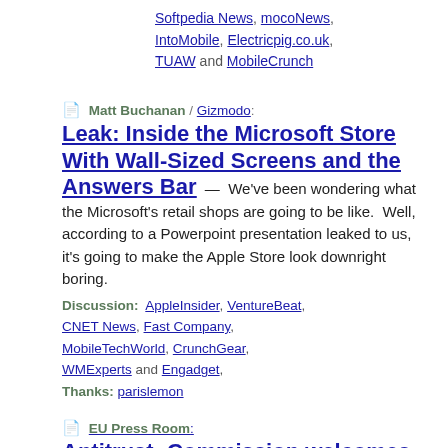Softpedia News, mocoNews, IntoMobile, Electricpig.co.uk, TUAW and MobileCrunch
Matt Buchanan / Gizmodo: Leak: Inside the Microsoft Store With Wall-Sized Screens and the Answers Bar — We've been wondering what the Microsoft's retail shops are going to be like. Well, according to a Powerpoint presentation leaked to us, it's going to make the Apple Store look downright boring.
Discussion: AppleInsider, VentureBeat, CNET News, Fast Company, MobileTechWorld, CrunchGear, WMExperts and Engadget,
Thanks: parislemon
EU Press Room: Antitrust: Commission welcomes new Microsoft proposals on Microsoft Internet Explorer and